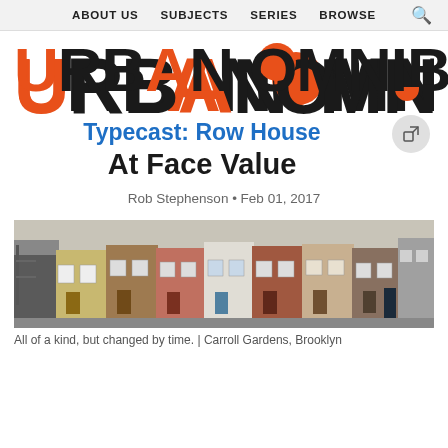ABOUT US  SUBJECTS  SERIES  BROWSE
[Figure (logo): Urban Omnibus logo in large bold black and orange lettering with orange circular and semi-circular decorative elements]
Typecast: Row House
At Face Value
Rob Stephenson • Feb 01, 2017
[Figure (photo): Panoramic street-level photograph of a row of brownstone and brick row houses in Carroll Gardens, Brooklyn, showing varied facades and colors]
All of a kind, but changed by time. | Carroll Gardens, Brooklyn